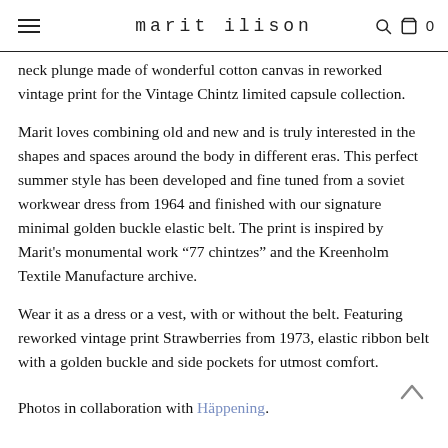marit ilison
neck plunge made of wonderful cotton canvas in reworked vintage print for the Vintage Chintz limited capsule collection.
Marit loves combining old and new and is truly interested in the shapes and spaces around the body in different eras. This perfect summer style has been developed and fine tuned from a soviet workwear dress from 1964 and finished with our signature minimal golden buckle elastic belt. The print is inspired by Marit's monumental work “77 chintzes” and the Kreenholm Textile Manufacture archive.
Wear it as a dress or a vest, with or without the belt. Featuring reworked vintage print Strawberries from 1973, elastic ribbon belt with a golden buckle and side pockets for utmost comfort.
Photos in collaboration with Häppening.